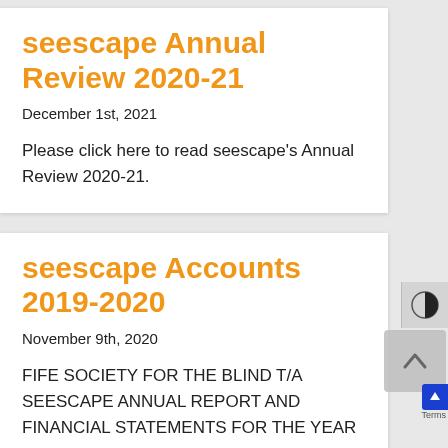seescape Annual Review 2020-21
December 1st, 2021
Please click here to read seescape's Annual Review 2020-21.
seescape Accounts 2019-2020
November 9th, 2020
FIFE SOCIETY FOR THE BLIND T/A SEESCAPE ANNUAL REPORT AND FINANCIAL STATEMENTS FOR THE YEAR ENDED 31